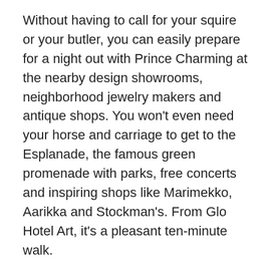Without having to call for your squire or your butler, you can easily prepare for a night out with Prince Charming at the nearby design showrooms, neighborhood jewelry makers and antique shops. You won't even need your horse and carriage to get to the Esplanade, the famous green promenade with parks, free concerts and inspiring shops like Marimekko, Aarikka and Stockman's. From Glo Hotel Art, it's a pleasant ten-minute walk.
Renovated in 2012, just in time for Helsinki's year as World Design Capital, Glo Hotel Art combines the accouterments of a castle (well, maybe not a moat) with the cool factor of Finnish design. The stone lobby with its arches, stained glass windows, soft lighting and mysterious stairways evokes a cool Hogwarts vibe. Or would if Albus Dumbledore had admitted Art Nouveau